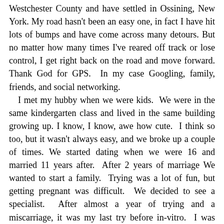Westchester County and have settled in Ossining, New York. My road hasn't been an easy one, in fact I have hit lots of bumps and have come across many detours. But no matter how many times I've reared off track or lose control, I get right back on the road and move forward. Thank God for GPS.  In my case Googling, family, friends, and social networking.
 I met my hubby when we were kids.  We were in the same kindergarten class and lived in the same building growing up. I know, I know, awe how cute.  I think so too, but it wasn't always easy, and we broke up a couple of times. We started dating when we were 16 and married 11 years after.  After 2 years of marriage We wanted to start a family.  Trying was a lot of fun, but getting pregnant was difficult.  We decided to see a specialist.  After almost a year of trying and a miscarriage, it was my last try before in-vitro.  I was pregnant with my first Born Devynn.  I never expected that 4 months after, I would be pregnant again with my second Child, Donovan.  Dustin came 3